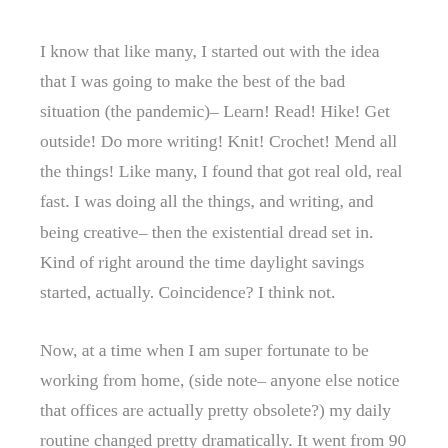I know that like many, I started out with the idea that I was going to make the best of the bad situation (the pandemic)– Learn! Read! Hike! Get outside! Do more writing! Knit! Crochet! Mend all the things! Like many, I found that got real old, real fast. I was doing all the things, and writing, and being creative– then the existential dread set in. Kind of right around the time daylight savings started, actually. Coincidence? I think not.
Now, at a time when I am super fortunate to be working from home, (side note– anyone else notice that offices are actually pretty obsolete?) my daily routine changed pretty dramatically. It went from 90 minutes from bed to work, then 8.5 hours of work, followed by 45 minutes commute home, then a couple of